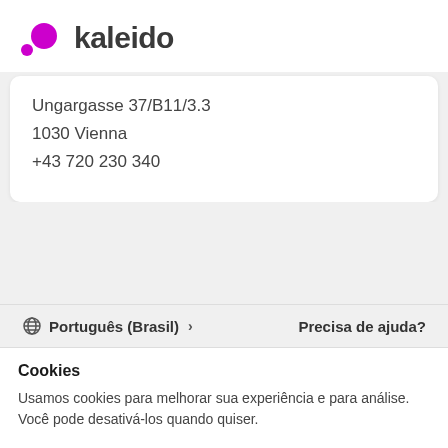kaleido
Ungargasse 37/B11/3.3
1030 Vienna
+43 720 230 340
Português (Brasil) >
Precisa de ajuda?
Cookies
Usamos cookies para melhorar sua experiência e para análise. Você pode desativá-los quando quiser.
Informações e configurações
Aceitar tudo